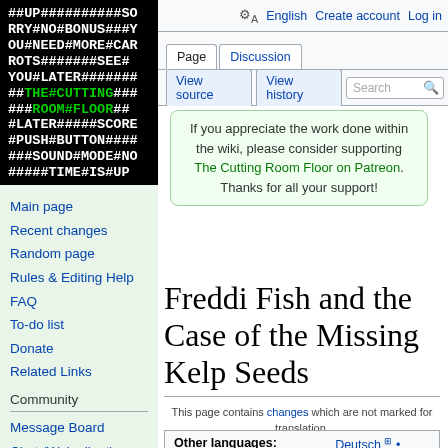[Figure (logo): The Cutting Room Floor wiki logo — black background with white and green monospace text showing a coded message and the site name in green]
Main page
Recent changes
Random page
Rules & Editing Help
FAQ
To-do list
Donate
Related Links
Community
Message Board
Chat (Web client)
Chat (IRC)
Discord
English  Create account  Log in
Page  Discussion  View source  View history  Search
If you appreciate the work done within the wiki, please consider supporting The Cutting Room Floor on Patreon. Thanks for all your support!
Freddi Fish and the Case of the Missing Kelp Seeds
This page contains changes which are not marked for translation.
| Other languages: |  |
| --- | --- |
|  | Deutsch ⊞ • |
|  | English ≡ |